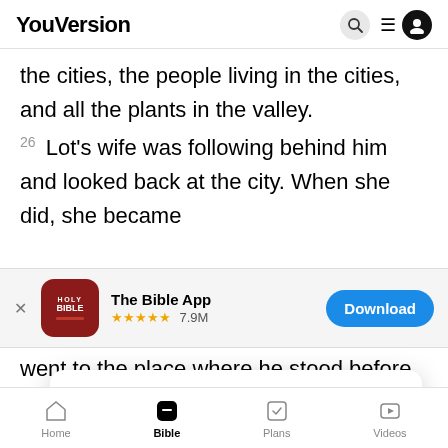YouVersion
the cities, the people living in the cities, and all the plants in the valley.
26 Lot's wife was following behind him and looked back at the city. When she did, she became
[Figure (screenshot): The Bible App download banner with app icon, star rating 7.9M reviews, and Download button]
went to the place where he stood before the
28 Abra
cities of Sodom and Gomorrah. He saw clouds of
YouVersion uses cookies to personalize your experience. By using our website, you accept our use of cookies as described in our Privacy Policy.
Home  Bible  Plans  Videos